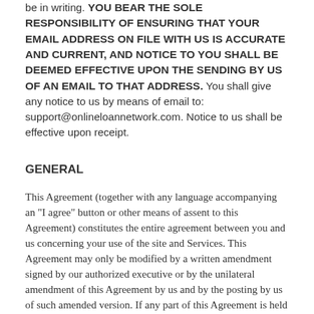be in writing. YOU BEAR THE SOLE RESPONSIBILITY OF ENSURING THAT YOUR EMAIL ADDRESS ON FILE WITH US IS ACCURATE AND CURRENT, AND NOTICE TO YOU SHALL BE DEEMED EFFECTIVE UPON THE SENDING BY US OF AN EMAIL TO THAT ADDRESS. You shall give any notice to us by means of email to: support@onlineloannetwork.com. Notice to us shall be effective upon receipt.
GENERAL
This Agreement (together with any language accompanying an "I agree" button or other means of assent to this Agreement) constitutes the entire agreement between you and us concerning your use of the site and Services. This Agreement may only be modified by a written amendment signed by our authorized executive or by the unilateral amendment of this Agreement by us and by the posting by us of such amended version. If any part of this Agreement is held invalid or unenforceable, that part will be construed to reflect the parties' original intent, and the remaining portions will remain in full force and effect. A waiver by either party of any term or condition of this Agreement or any breach